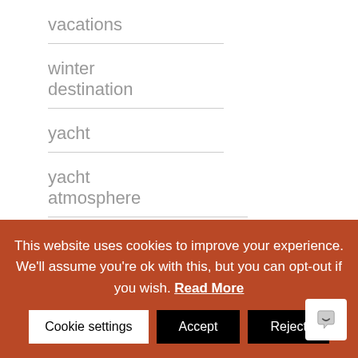vacations
winter destination
yacht
yacht atmosphere
yacht birthday
This website uses cookies to improve your experience. We'll assume you're ok with this, but you can opt-out if you wish. Read More